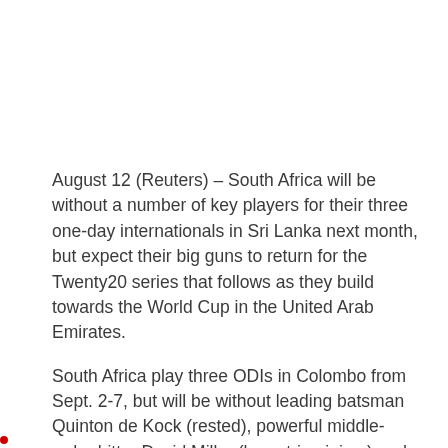August 12 (Reuters) – South Africa will be without a number of key players for their three one-day internationals in Sri Lanka next month, but expect their big guns to return for the Twenty20 series that follows as they build towards the World Cup in the United Arab Emirates.
South Africa play three ODIs in Colombo from Sept. 2-7, but will be without leading batsman Quinton de Kock (rested), powerful middle-order hitter David Miller (hamstring injury) and seamer Lungi Ngidi (personal reasons).